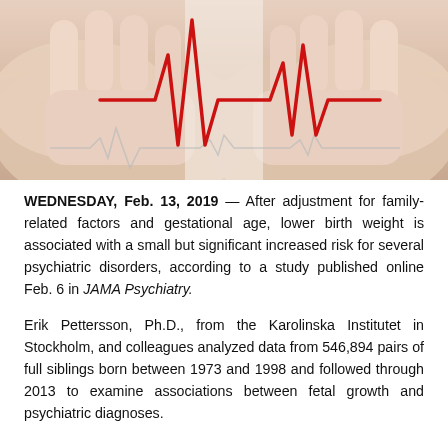[Figure (photo): Hands cupping a red ECG/heartbeat waveform line on a white background, with a faint grey ECG line below.]
WEDNESDAY, Feb. 13, 2019 — After adjustment for family-related factors and gestational age, lower birth weight is associated with a small but significant increased risk for several psychiatric disorders, according to a study published online Feb. 6 in JAMA Psychiatry.
Erik Pettersson, Ph.D., from the Karolinska Institutet in Stockholm, and colleagues analyzed data from 546,894 pairs of full siblings born between 1973 and 1998 and followed through 2013 to examine associations between fetal growth and psychiatric diagnoses.